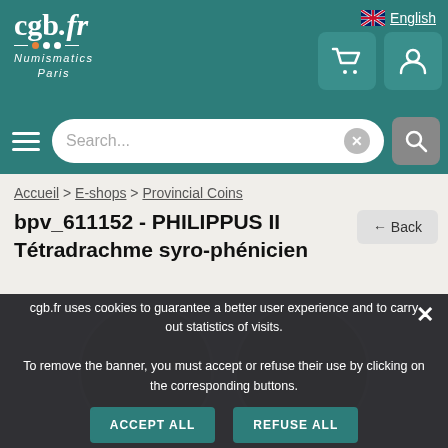cgb.fr - Numismatics Paris - English
Search...
Accueil > E-shops > Provincial Coins
bpv_611152 - PHILIPPUS II Tétradrachme syro-phénicien
← Back
[Figure (photo): Ancient coin - Tétradrachme syro-phénicien - dark bronze coin with portrait]
cgb.fr uses cookies to guarantee a better user experience and to carry out statistics of visits.
To remove the banner, you must accept or refuse their use by clicking on the corresponding buttons.